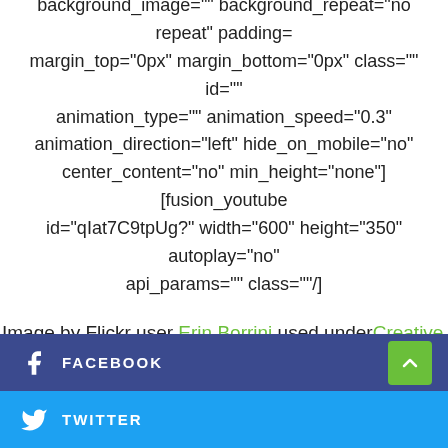background_image="" background_repeat="no repeat" padding= margin_top="0px" margin_bottom="0px" class="" id="" animation_type="" animation_speed="0.3" animation_direction="left" hide_on_mobile="no" center_content="no" min_height="none"][fusion_youtube id="qIat7C9tpUg?" width="600" height="350" autoplay="no" api_params="" class=""/]
Image by Flickr user Erin Borrini used under Creative Commons Attribution-ShareAlike 4.0 license. Image cropped and modified from original.[/fusion_builder_column][/fusion_builder_row][/fusion_builder_container]
FACEBOOK
TWITTER